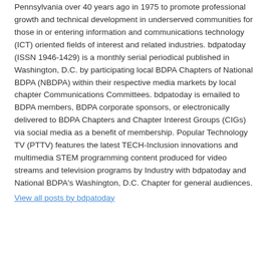Pennsylvania over 40 years ago in 1975 to promote professional growth and technical development in underserved communities for those in or entering information and communications technology (ICT) oriented fields of interest and related industries. bdpatoday (ISSN 1946-1429) is a monthly serial periodical published in Washington, D.C. by participating local BDPA Chapters of National BDPA (NBDPA) within their respective media markets by local chapter Communications Committees. bdpatoday is emailed to BDPA members, BDPA corporate sponsors, or electronically delivered to BDPA Chapters and Chapter Interest Groups (CIGs) via social media as a benefit of membership. Popular Technology TV (PTTV) features the latest TECH-Inclusion innovations and multimedia STEM programming content produced for video streams and television programs by Industry with bdpatoday and National BDPA's Washington, D.C. Chapter for general audiences.
View all posts by bdpatoday